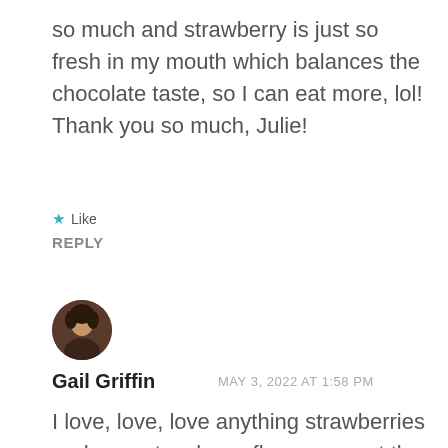so much and strawberry is just so fresh in my mouth which balances the chocolate taste, so I can eat more, lol! Thank you so much, Julie!
★ Like
REPLY
[Figure (photo): Circular avatar photo of a person]
Gail Griffin   MAY 3, 2022 AT 1:58 PM
I love, love, love anything strawberries and your strawberry flowers are at the top of